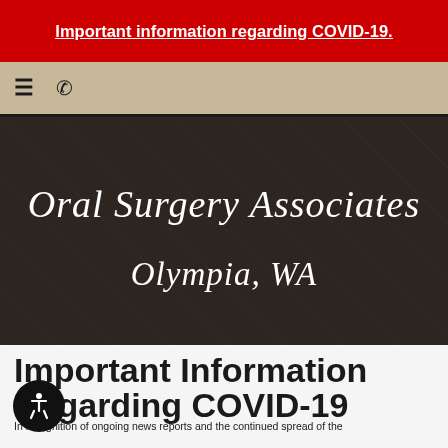Important information regarding COVID-19.
[Figure (logo): Oral Surgery Associates Olympia, WA practice logo in italic script on dark background]
Important Information Regarding COVID-19
In recognition of ongoing news reports and the continued spread of the COVID-19...